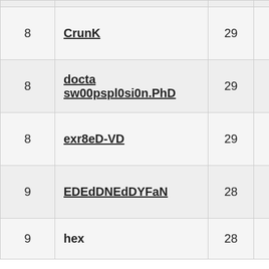| # | Name | Score |  |
| --- | --- | --- | --- |
| 8 | CrunK | 29 |  |
| 8 | docta sw00pspl0si0n.PhD | 29 |  |
| 8 | exr8eD-VD | 29 |  |
| 9 | EDEdDNEdDYFaN | 28 |  |
| 9 | hex | 28 |  |